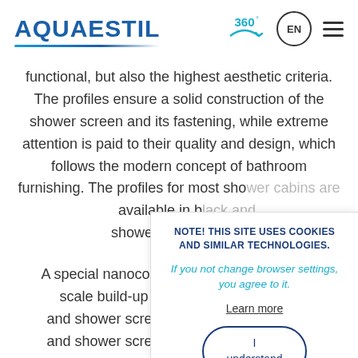AQUAESTIL | 360° | EN
functional, but also the highest aesthetic criteria. The profiles ensure a solid construction of the shower screen and its fastening, while extreme attention is paid to their quality and design, which follows the modern concept of bathroom furnishing. The profiles for most show[er cabins are] available in b[lack/chrome/...] shower screens [...]
A special nanoco[ating...] scale build-up is [...] and shower scre[ens...] and shower scre[ens...] order to ac[hieve...]
NOTE! THIS SITE USES COOKIES AND SIMILAR TECHNOLOGIES. If you not change browser settings, you agree to it. Learn more. I understand